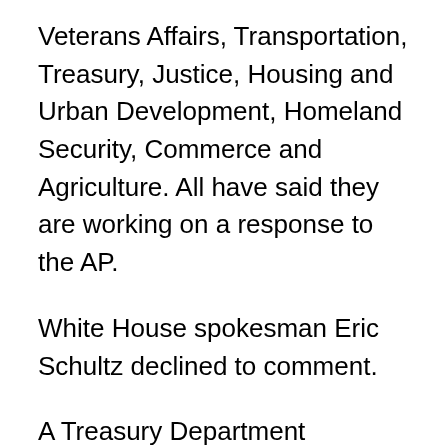Veterans Affairs, Transportation, Treasury, Justice, Housing and Urban Development, Homeland Security, Commerce and Agriculture. All have said they are working on a response to the AP.
White House spokesman Eric Schultz declined to comment.
A Treasury Department spokeswoman, Marissa Hopkins Secreto, referred inquiries to the agency's FOIA office, which said its technology department was still searching for the email addresses. Other departments, including Homeland Security, did not respond to questions from the AP about the delays of nearly three months. The Pentagon said it may have an answer by later this summer.